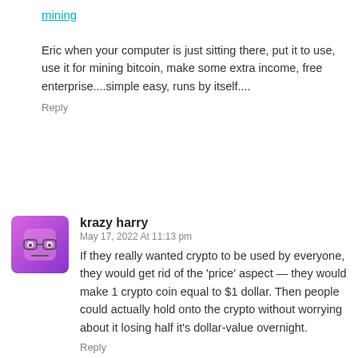mining
Eric when your computer is just sitting there, put it to use, use it for mining bitcoin, make some extra income, free enterprise....simple easy, runs by itself....
Reply
[Figure (illustration): Purple cartoon avatar with glasses, square shaped character]
krazy harry
May 17, 2022 At 11:13 pm
If they really wanted crypto to be used by everyone, they would get rid of the 'price' aspect — they would make 1 crypto coin equal to $1 dollar. Then people could actually hold onto the crypto without worrying about it losing half it's dollar-value overnight.
Reply